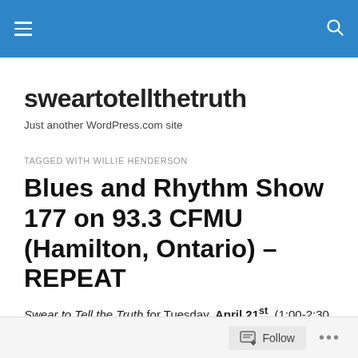sweartotellthetruth — navigation and search bar
sweartotellthetruth
Just another WordPress.com site
TAGGED WITH WILLIE HENDERSON
Blues and Rhythm Show 177 on 93.3 CFMU (Hamilton, Ontario) – REPEAT
Swear to Tell the Truth for Tuesday, April 21st, (1:00-2:30 pm)
Follow